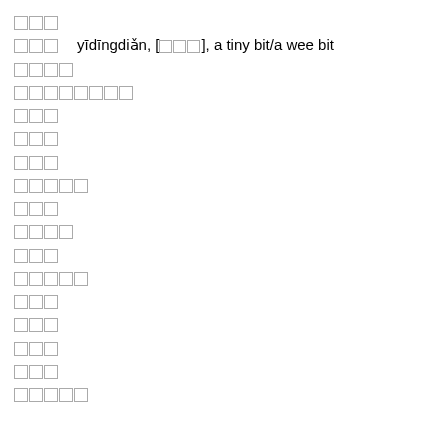一点儿
一点儿  yīdīngdiǎn, [一点儿], a tiny bit/a wee bit
一定点
一定点儿一字
一字
一字
一字
一字字字
一字字
一字字字
一字字
一字字字字
一字字
一字字
一字字
一字字
一字字字字